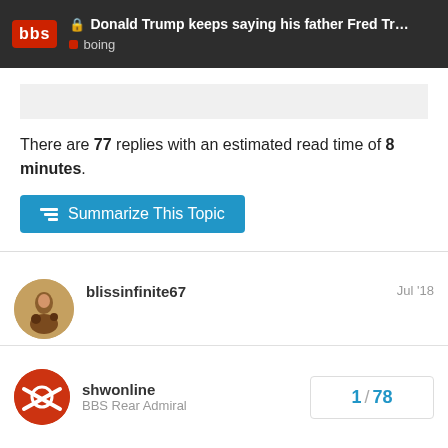Donald Trump keeps saying his father Fred Tr... | boing
There are 77 replies with an estimated read time of 8 minutes.
Summarize This Topic
blissinfinite67 Jul '18
Well, what do you expect? He's just trying to gain some street cred with his brownshirts.
41
shwonline
BBS Rear Admiral
1 / 78